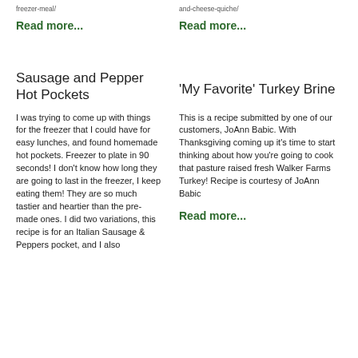freezer-meal/
and-cheese-quiche/
Read more...
Read more...
Sausage and Pepper Hot Pockets
'My Favorite' Turkey Brine
I was trying to come up with things for the freezer that I could have for easy lunches, and found homemade hot pockets. Freezer to plate in 90 seconds! I don't know how long they are going to last in the freezer, I keep eating them! They are so much tastier and heartier than the pre-made ones. I did two variations, this recipe is for an Italian Sausage & Peppers pocket, and I also
This is a recipe submitted by one of our customers, JoAnn Babic. With Thanksgiving coming up it's time to start thinking about how you're going to cook that pasture raised fresh Walker Farms Turkey! Recipe is courtesy of JoAnn Babic
Read more...